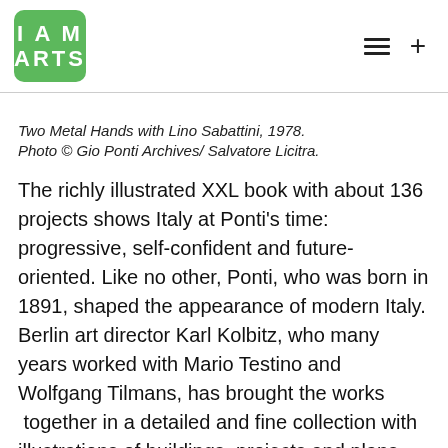I AM ARTS
Two Metal Hands with Lino Sabattini, 1978. Photo © Gio Ponti Archives/ Salvatore Licitra.
The richly illustrated XXL book with about 136 projects shows Italy at Ponti's time: progressive, self-confident and future-oriented. Like no other, Ponti, who was born in 1891, shaped the appearance of modern Italy. Berlin art director Karl Kolbitz, who many years worked with Mario Testino and Wolfgang Tilmans, has brought the works  together in a detailed and fine collection with illustrations of buildings, projects and plans, so that the book, which weighs about 6 kg, does not seem so heavy at all and allows the viewer to